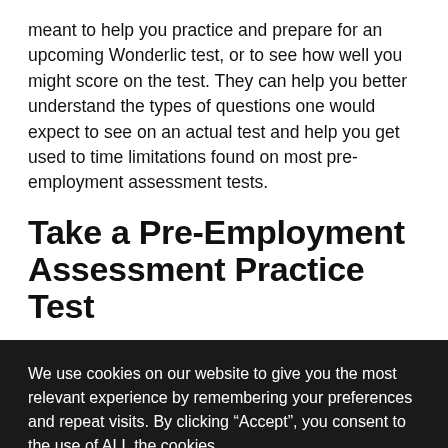meant to help you practice and prepare for an upcoming Wonderlic test, or to see how well you might score on the test. They can help you better understand the types of questions one would expect to see on an actual test and help you get used to time limitations found on most pre-employment assessment tests.
Take a Pre-Employment Assessment Practice Test
We use cookies on our website to give you the most relevant experience by remembering your preferences and repeat visits. By clicking “Accept”, you consent to the use of ALL the cookies.
Do not sell my personal information.
Cookie Settings  Accept